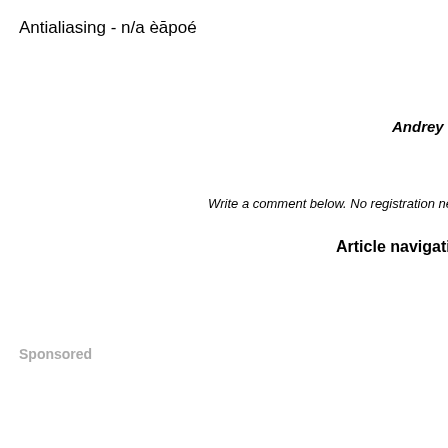Antialiasing - n/a èāpoé
Andrey
Write a comment below. No registration needed!
Article navigation
Sponsored